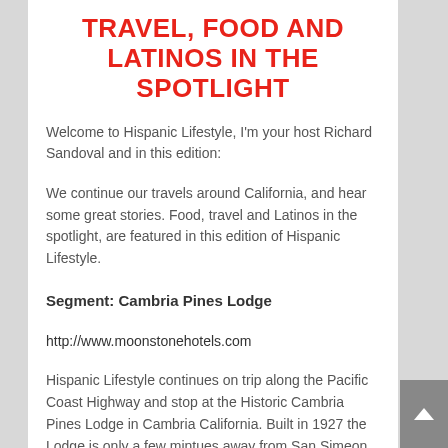TRAVEL, FOOD AND LATINOS IN THE SPOTLIGHT
Welcome to Hispanic Lifestyle, I'm your host Richard Sandoval and in this edition:
We continue our travels around California, and hear some great stories. Food, travel and Latinos in the spotlight, are featured in this edition of Hispanic Lifestyle.
Segment: Cambria Pines Lodge
http://www.moonstonehotels.com
Hispanic Lifestyle continues on trip along the Pacific Coast Highway and stop at the Historic Cambria Pines Lodge in Cambria California. Built in 1927 the Lodge is only a few mintues away from San Simeon and Hearst Castle.